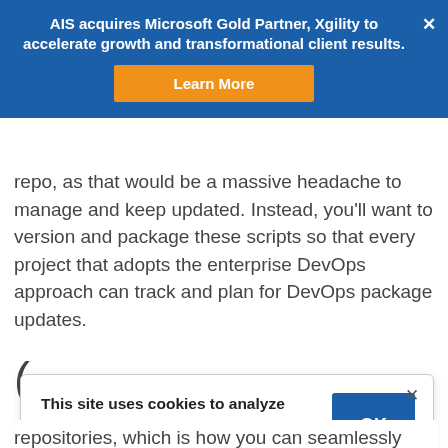AIS acquires Microsoft Gold Partner, Xgility to accelerate growth and transformational client results.
repo, as that would be a massive headache to manage and keep updated. Instead, you'll want to version and package these scripts so that every project that adopts the enterprise DevOps approach can track and plan for DevOps package updates.
This site uses cookies to analyze traffic and measure ad performance. We encourage you to read our privacy policy and terms of use to learn more.
repositories, which is how you can seamlessly distribute